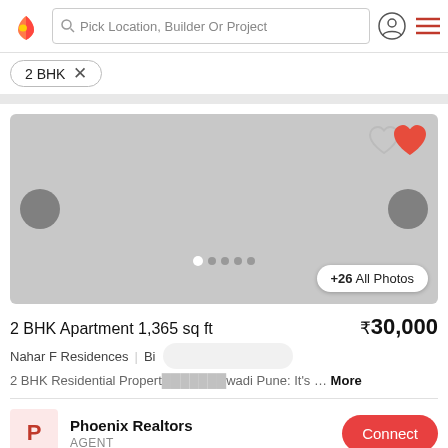Pick Location, Builder Or Project
2 BHK ×
[Figure (screenshot): Property image carousel placeholder (grey rectangle) with navigation arrows, heart/favorite icons, page dots, and +26 All Photos button]
2 BHK Apartment 1,365 sq ft
₹30,000
Nahar F Residences | Bhi...wadi Pune: It's ... More
2 BHK Residential Property...wadi Pune: It's ... More
Phoenix Realtors
AGENT